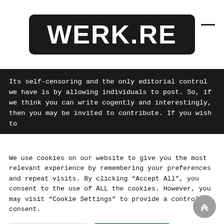WERK.RE
Its self-censoring and the only editorial control we have is by allowing individuals to post. So, if we think you can write cogently and interestingly, then you may be invited to contribute. If you wish to join the collection, the content is shared with...
We use cookies on our website to give you the most relevant experience by remembering your preferences and repeat visits. By clicking “Accept All”, you consent to the use of ALL the cookies. However, you may visit “Cookie Settings” to provide a controlled consent.
Cookie Settings | Accept All